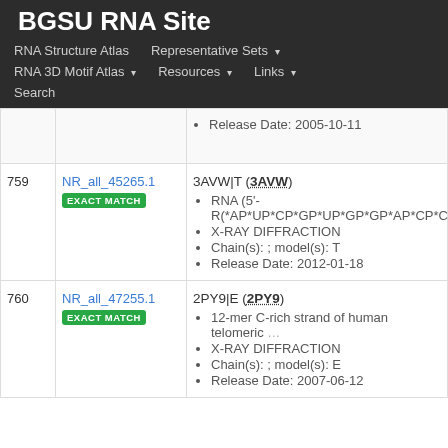BGSU RNA Site
RNA Structure Atlas | Representative Sets | RNA 3D Motif Atlas | Resources | Links | Search
| # | ID | Description |
| --- | --- | --- |
|  |  | Release Date: 2005-10-11 |
| 759 | NR_all_45265.1 EXACT MATCH | 3AVW|T (3AVW)
• RNA (5'-R(*AP*UP*CP*GP*UP*GP*GP*AP*CP*C...
• X-RAY DIFFRACTION
• Chain(s): ; model(s): T
• Release Date: 2012-01-18 |
| 760 | NR_all_47255.1 EXACT MATCH | 2PY9|E (2PY9)
• 12-mer C-rich strand of human telomeric ...
• X-RAY DIFFRACTION
• Chain(s): ; model(s): E
• Release Date: 2007-06-12 |